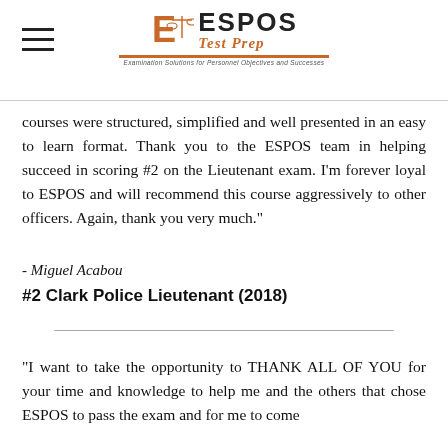ESPOS Test Prep
courses were structured, simplified and well presented in an easy to learn format. Thank you to the ESPOS team in helping succeed in scoring #2 on the Lieutenant exam. I'm forever loyal to ESPOS and will recommend this course aggressively to other officers. Again, thank you very much."
- Miguel Acabou
#2 Clark Police Lieutenant (2018)
"I want to take the opportunity to THANK ALL OF YOU for your time and knowledge to help me and the others that chose ESPOS to pass the exam and for me to come